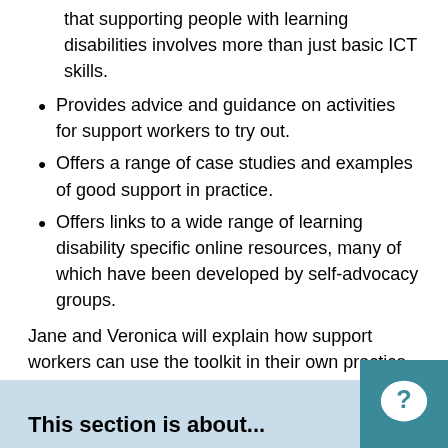that supporting people with learning disabilities involves more than just basic ICT skills.
Provides advice and guidance on activities for support workers to try out.
Offers a range of case studies and examples of good support in practice.
Offers links to a wide range of learning disability specific online resources, many of which have been developed by self-advocacy groups.
Jane and Veronica will explain how support workers can use the toolkit in their own practice.
This section is about...